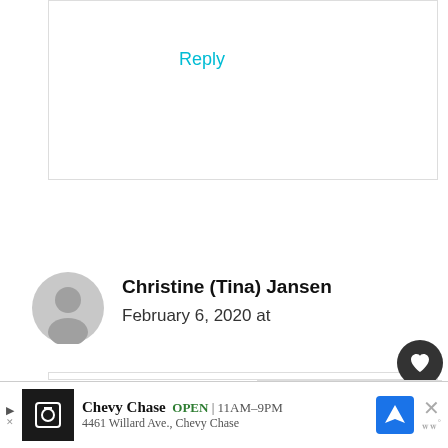Reply
Christine (Tina) Jansen
February 6, 2020 at
I want to start a blog so bad but haven't decided my niche as yet. I have a few topics I could do. The only thing t makes me a bit hesitant is that I am
WHAT'S NEXT → 15 High Paying...
Chevy Chase  OPEN  11AM–9PM  4461 Willard Ave., Chevy Chase